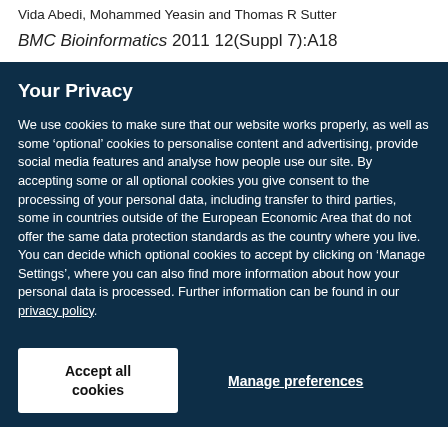Vida Abedi, Mohammed Yeasin and Thomas R Sutter
BMC Bioinformatics 2011 12(Suppl 7):A18
Your Privacy
We use cookies to make sure that our website works properly, as well as some ‘optional’ cookies to personalise content and advertising, provide social media features and analyse how people use our site. By accepting some or all optional cookies you give consent to the processing of your personal data, including transfer to third parties, some in countries outside of the European Economic Area that do not offer the same data protection standards as the country where you live. You can decide which optional cookies to accept by clicking on ‘Manage Settings’, where you can also find more information about how your personal data is processed. Further information can be found in our privacy policy.
Accept all cookies
Manage preferences